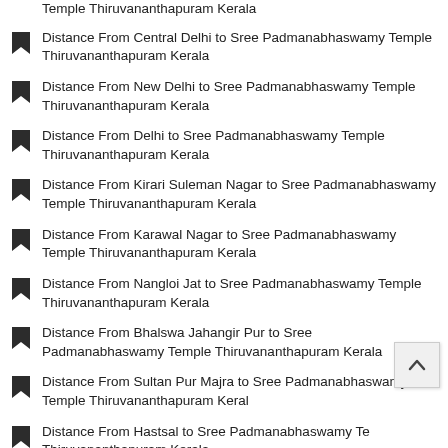Temple Thiruvananthapuram Kerala
Distance From Central Delhi to Sree Padmanabhaswamy Temple Thiruvananthapuram Kerala
Distance From New Delhi to Sree Padmanabhaswamy Temple Thiruvananthapuram Kerala
Distance From Delhi to Sree Padmanabhaswamy Temple Thiruvananthapuram Kerala
Distance From Kirari Suleman Nagar to Sree Padmanabhaswamy Temple Thiruvananthapuram Kerala
Distance From Karawal Nagar to Sree Padmanabhaswamy Temple Thiruvananthapuram Kerala
Distance From Nangloi Jat to Sree Padmanabhaswamy Temple Thiruvananthapuram Kerala
Distance From Bhalswa Jahangir Pur to Sree Padmanabhaswamy Temple Thiruvananthapuram Kerala
Distance From Sultan Pur Majra to Sree Padmanabhaswamy Temple Thiruvananthapuram Kerala
Distance From Hastsal to Sree Padmanabhaswamy Temple Thiruvananthapuram Kerala